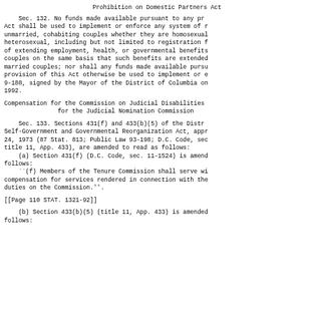Prohibition on Domestic Partners Act
Sec. 132. No funds made available pursuant to any provision of this Act shall be used to implement or enforce any system of registration of unmarried, cohabiting couples whether they are homosexual or heterosexual, including but not limited to registration for the purpose of extending employment, health, or governmental benefits to such couples on the same basis that such benefits are extended to legally married couples; nor shall any funds made available pursuant to any provision of this Act otherwise be used to implement or enforce D.C. Act 9-188, signed by the Mayor of the District of Columbia on January 7, 1992.
Compensation for the Commission on Judicial Disabilities and Tenure and for the Judicial Nomination Commission
Sec. 133. Sections 431(f) and 433(b)(5) of the District of Columbia Self-Government and Governmental Reorganization Act, approved December 24, 1973 (87 Stat. 813; Public Law 93-198; D.C. Code, sec. 11-1524 and title 11, App. 433), are amended to read as follows:
    (a) Section 431(f) (D.C. Code, sec. 11-1524) is amended to read as follows:
    ``(f) Members of the Tenure Commission shall serve without compensation for services rendered in connection with their official duties on the Commission.''.
[[Page 110 STAT. 1321-92]]
(b) Section 433(b)(5) (title 11, App. 433) is amended to read as follows: